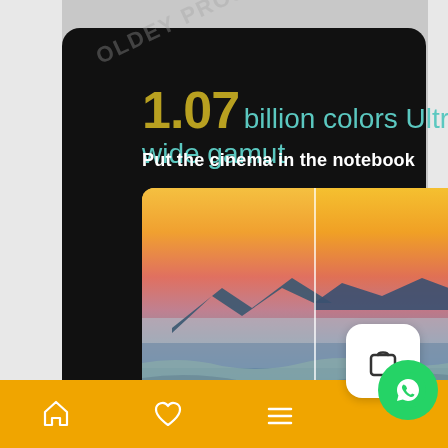1.07 billion colors Ultra wide gamut
Put the cinema in the notebook
[Figure (photo): Split comparison image showing a sunset landscape over mountains and water. Left half (10 bit) shows smooth gradients, right half (8 bit) shows pixelated/banded grid overlay on same scene.]
10 bit
8 bit
[Figure (screenshot): Mobile app bottom navigation bar (orange background) with home icon, heart/favorites icon, and hamburger menu icon. Shopping bag button and WhatsApp bubble also visible.]